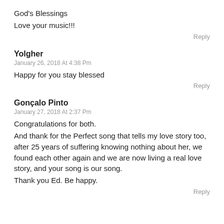God's Blessings
Love your music!!!
Reply
Yolgher
January 26, 2018 At 4:38 Pm
Happy for you stay blessed
Reply
Gonçalo Pinto
January 27, 2018 At 2:37 Pm
Congratulations for both.
And thank for the Perfect song that tells my love story too, after 25 years of suffering knowing nothing about her, we found each other again and we are now living a real love story, and your song is our song.
Thank you Ed. Be happy.
Reply